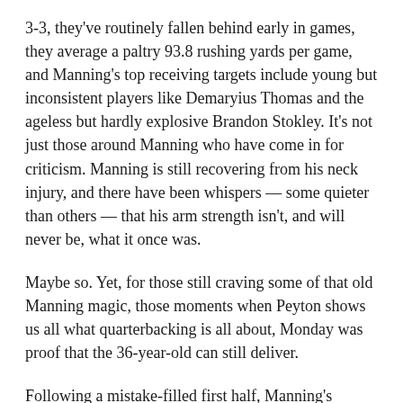3-3, they've routinely fallen behind early in games, they average a paltry 93.8 rushing yards per game, and Manning's top receiving targets include young but inconsistent players like Demaryius Thomas and the ageless but hardly explosive Brandon Stokley. It's not just those around Manning who have come in for criticism. Manning is still recovering from his neck injury, and there have been whispers &#8212; some quieter than others — that his arm strength isn't, and will never be, what it once was.
Maybe so. Yet, for those still craving some of that old Manning magic, those moments when Peyton shows us all what quarterbacking is all about, Monday was proof that the 36-year-old can still deliver.
Following a mistake-filled first half, Manning's Broncos outscored the San Diego Chargers 35-0 (though not without the help of a bevy of San Diego turnovers) in the second. It was vintage Manning — simple audibles at the line, precision throws to a variety of receivers, and, yes, even a few passes where he showed